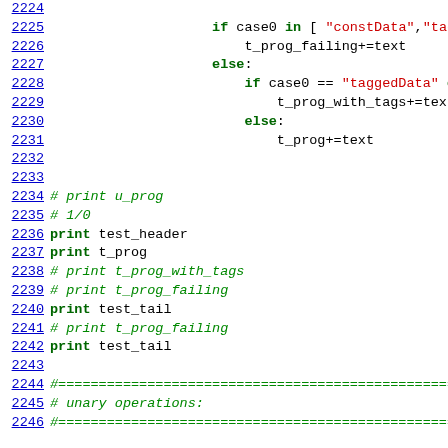[Figure (screenshot): Source code screenshot showing Python code lines 2224-2246 with syntax highlighting. Line numbers on the left in blue underlined. Code includes if/else blocks, print statements, and comment lines.]